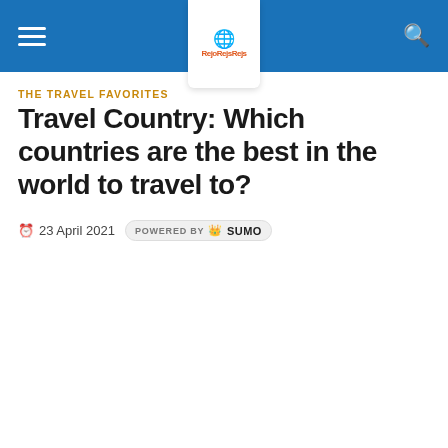RejoRejsRejs navigation header
THE TRAVEL FAVORITES
Travel Country: Which countries are the best in the world to travel to?
23 April 2021  POWERED BY SUMO
[Figure (infographic): Brown popup subscription widget with heading 'Elsker du også rejsetilbud?', body text about newsletter, email input field, green submit button, and a photo of a smiling man in a pink shirt. Green X close button at top right.]